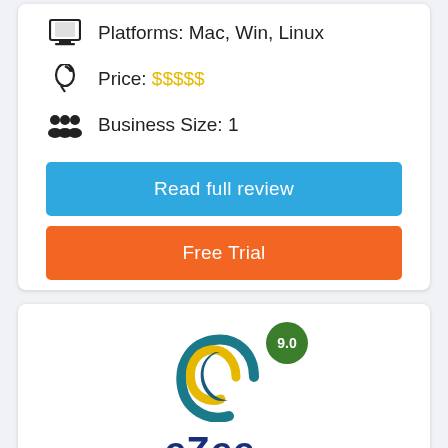Platforms: Mac, Win, Linux
Price: $$$$$
Business Size: 1
Read full review
Free Trial
[Figure (logo): eZee logo with arc/moon swoosh graphic in teal and yellow, score badge showing 9.0 in green circle, and eZee text in dark blue]